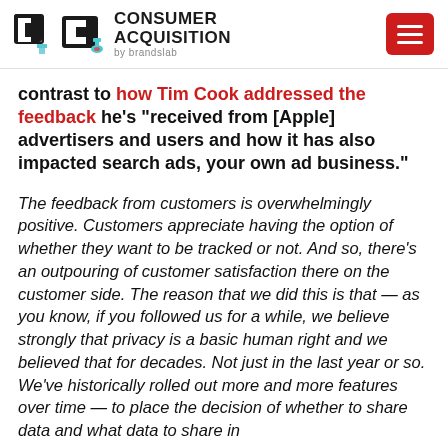Consumer Acquisition by Brandslab
contrast to how Tim Cook addressed the feedback he's "received from [Apple] advertisers and users and how it has also impacted search ads, your own ad business."
The feedback from customers is overwhelmingly positive. Customers appreciate having the option of whether they want to be tracked or not. And so, there's an outpouring of customer satisfaction there on the customer side. The reason that we did this is that — as you know, if you followed us for a while, we believe strongly that privacy is a basic human right and we believed that for decades. Not just in the last year or so. We've historically rolled out more and more features over time — to place the decision of whether to share data and what data to share in